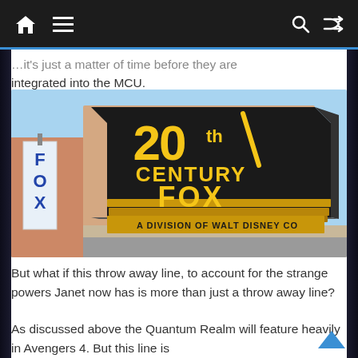[navigation bar with home, menu, search, shuffle icons]
…it's just a matter of time before they are integrated into the MCU.
[Figure (screenshot): Animated screenshot showing a 20th Century Fox building sign that reads '20th CENTURY FOX — A DIVISION OF WALT DISNEY CO', styled in The Simpsons animation.]
But what if this throw away line, to account for the strange powers Janet now has is more than just a throw away line?
As discussed above the Quantum Realm will feature heavily in Avengers 4. But this line is